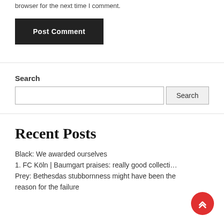browser for the next time I comment.
Post Comment
Search
Recent Posts
Black: We awarded ourselves
1. FC Köln | Baumgart praises: really good collecti…
Prey: Bethesdas stubbornness might have been the reason for the failure